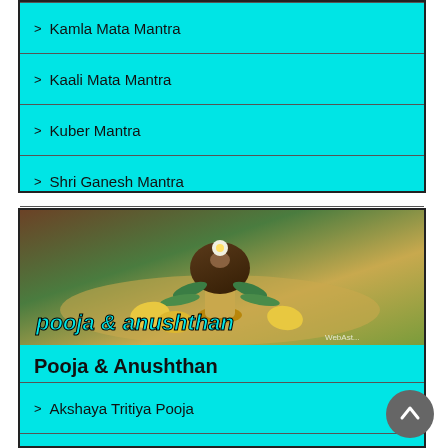> Kamla Mata Mantra
> Kaali Mata Mantra
> Kuber Mantra
> Shri Ganesh Mantra
View More
[Figure (photo): Pooja thali with coconut decorated with flowers and mango leaves on brass kalash, with text 'pooja & anushthan' overlaid]
Pooja & Anushthan
> Akshaya Tritiya Pooja
> Baglamukhi Anushthan
> Mahamrityunjaya Anushthan
> Navratri Pooja